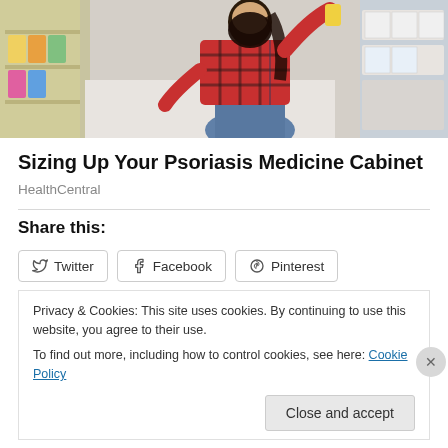[Figure (photo): Woman in plaid shirt crouching in a pharmacy/store aisle, examining a product from the shelf. Store shelves with products visible in background.]
Sizing Up Your Psoriasis Medicine Cabinet
HealthCentral
Share this:
Twitter  Facebook  Pinterest
Privacy & Cookies: This site uses cookies. By continuing to use this website, you agree to their use.
To find out more, including how to control cookies, see here: Cookie Policy
Close and accept